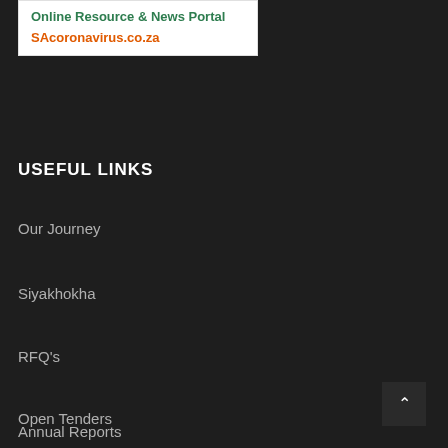[Figure (other): White banner with green text 'Online Resource & News Portal' and orange URL 'SAcoronavirus.co.za']
USEFUL LINKS
Our Journey
Siyakhokha
RFQ's
Open Tenders
Annual Reports